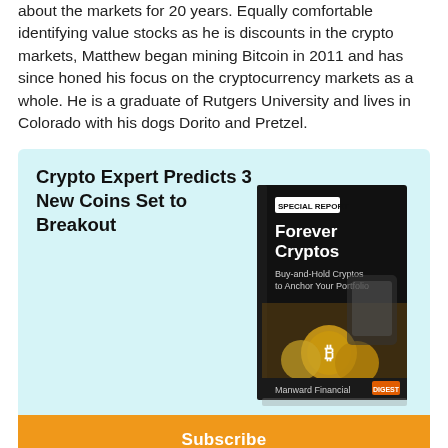about the markets for 20 years. Equally comfortable identifying value stocks as he is discounts in the crypto markets, Matthew began mining Bitcoin in 2011 and has since honed his focus on the cryptocurrency markets as a whole. He is a graduate of Rutgers University and lives in Colorado with his dogs Dorito and Pretzel.
Crypto Expert Predicts 3 New Coins Set to Breakout
[Figure (illustration): Book cover for 'Forever Cryptos: Buy-and-Hold Cryptos to Anchor Your Portfolio' published by Manward Financial, with a black cover showing cryptocurrency coins and a person using a smartphone. Labeled 'SPECIAL REPORT' at top.]
Subscribe